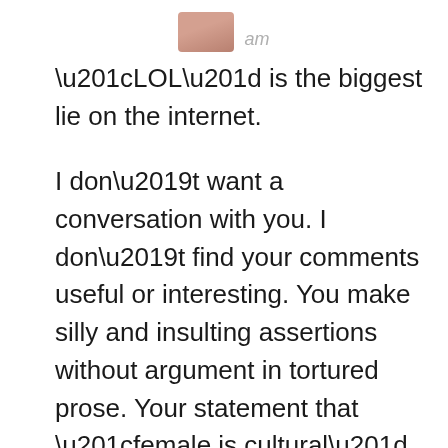[Figure (photo): Small cropped photo of a person's face (avatar), with italic grey username 'am' to the right]
“LOL” is the biggest lie on the internet.
I don’t want a conversation with you. I don’t find your comments useful or interesting. You make silly and insulting assertions without argument in tortured prose. Your statement that “female is cultural” can be justified with a particular